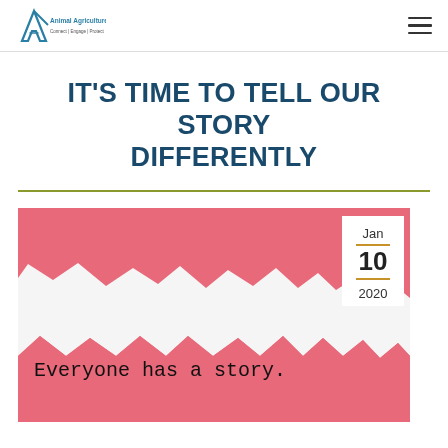Animal Agriculture Alliance — Connect | Engage | Protect
IT'S TIME TO TELL OUR STORY DIFFERENTLY
[Figure (illustration): Article card image showing pink torn paper texture with typewriter text 'Everyone has a story.' and a date badge showing Jan 10 2020]
Jan — 10 — 2020  Everyone has a story.